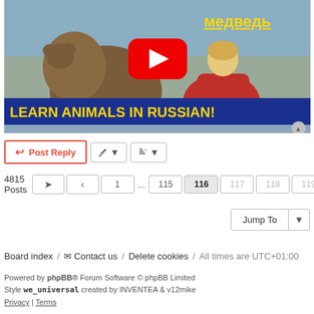[Figure (screenshot): YouTube video thumbnail for 'Learn Animals in Russian!' showing a woman in red dress with a bear in a snowy forest. Russian text 'медведь' (bear) shown in yellow. YouTube play button overlay. Blue banner at bottom reading 'LEARN ANIMALS IN RUSSIAN!' in yellow text.]
Post Reply | tools | sort
4815 Posts  |  <  1 ... 115  116  117  118  119 ... 121  >
Jump To
Board index / Contact us / Delete cookies / All times are UTC+01:00
Powered by phpBB® Forum Software © phpBB Limited
Style we_universal created by INVENTEA & v12mike
Privacy | Terms